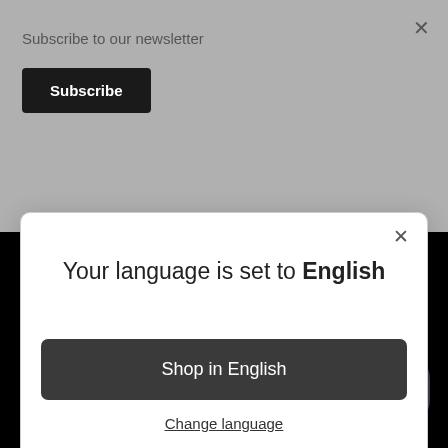Subscribe to our newsletter
Subscribe
[Figure (screenshot): Modal dialog with close X button, language selection prompt 'Your language is set to English', a dark 'Shop in English' button, and a 'Change language' underlined link]
Your language is set to English
Shop in English
Change language
Discuter avec nous